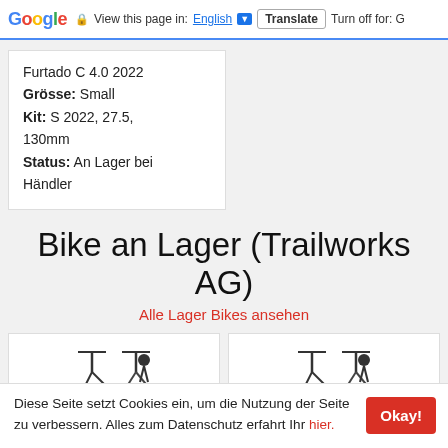Google  View this page in: English [▼]  Translate  Turn off for: G
Furtado C 4.0 2022
Grösse: Small
Kit: S 2022, 27.5, 130mm
Status: An Lager bei Händler
Bike an Lager (Trailworks AG)
Alle Lager Bikes ansehen
[Figure (photo): Two partial bike images shown side by side as thumbnails]
Diese Seite setzt Cookies ein, um die Nutzung der Seite zu verbessern. Alles zum Datenschutz erfahrt Ihr hier.  Okay!